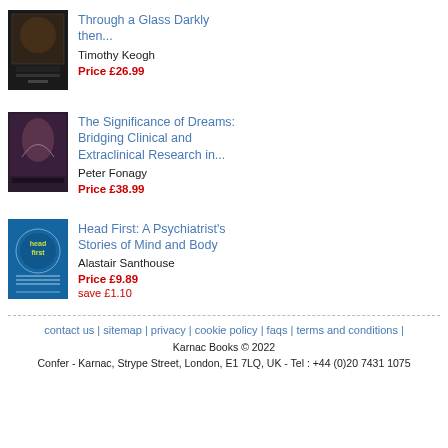[Figure (photo): Book cover for 'Through a Glass Darkly then...' - dark background book cover]
Through a Glass Darkly then...
Timothy Keogh
Price £26.99
[Figure (photo): Book cover for 'The Significance of Dreams' - dark purple/classical painting cover]
The Significance of Dreams: Bridging Clinical and Extraclinical Research in...
Peter Fonagy
Price £38.99
[Figure (photo): Book cover for 'Head First: A Psychiatrist's Stories of Mind and Body' - blue cover with yellow text]
Head First: A Psychiatrist's Stories of Mind and Body
Alastair Santhouse
Price £9.89
save £1.10
contact us | sitemap | privacy | cookie policy | faqs | terms and conditions |
Karnac Books © 2022
Confer - Karnac, Strype Street, London, E1 7LQ, UK - Tel : +44 (0)20 7431 1075